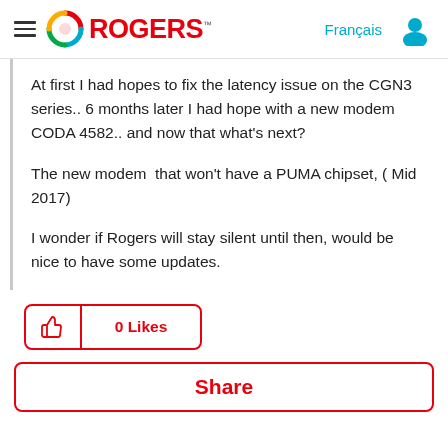Rogers — Français [nav]
At first I had hopes to fix the latency issue on the CGN3 series.. 6 months later I had hope with a new modem CODA 4582.. and now that what's next?
The new modem  that won't have a PUMA chipset, ( Mid 2017)
I wonder if Rogers will stay silent until then, would be nice to have some updates.
0 Likes
Share